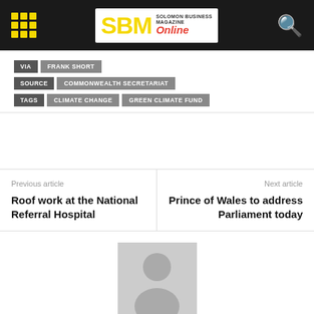SBM Solomon Business Online
VIA  FRANK SHORT
SOURCE  COMMONWEALTH SECRETARIAT
TAGS  CLIMATE CHANGE  GREEN CLIMATE FUND
Previous article
Roof work at the National Referral Hospital
Next article
Prince of Wales to address Parliament today
[Figure (illustration): Default user avatar placeholder — grey background with silhouette of a person]